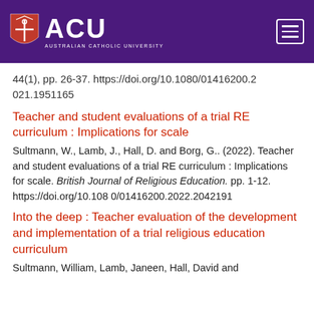[Figure (logo): ACU (Australian Catholic University) logo with shield and text on purple header background, and hamburger menu icon on the right]
44(1), pp. 26-37. https://doi.org/10.1080/01416200.2021.1951165
Teacher and student evaluations of a trial RE curriculum : Implications for scale
Sultmann, W., Lamb, J., Hall, D. and Borg, G.. (2022). Teacher and student evaluations of a trial RE curriculum : Implications for scale. British Journal of Religious Education. pp. 1-12. https://doi.org/10.1080/01416200.2022.2042191
Into the deep : Teacher evaluation of the development and implementation of a trial religious education curriculum
Sultmann, William, Lamb, Janeen, Hall, David and